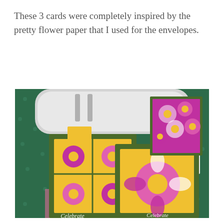These 3 cards were completely inspired by the pretty flower paper that I used for the envelopes.
[Figure (photo): Photo of three handmade flower cards with purple and pink daisy designs on yellow and green backgrounds, displayed in front of a white Cricut cutting machine on a green polka-dot surface. The cards say 'Celebrate'.]